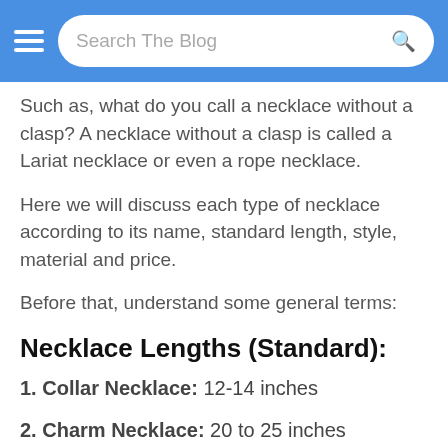Search The Blog
Such as, what do you call a necklace without a clasp? A necklace without a clasp is called a Lariat necklace or even a rope necklace.
Here we will discuss each type of necklace according to its name, standard length, style, material and price.
Before that, understand some general terms:
Necklace Lengths (Standard):
1. Collar Necklace: 12-14 inches
2. Charm Necklace: 20 to 25 inches